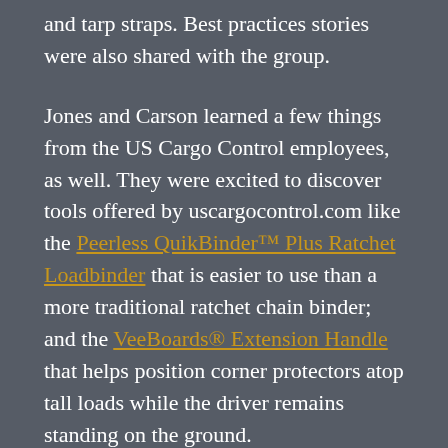and tarp straps. Best practices stories were also shared with the group.
Jones and Carson learned a few things from the US Cargo Control employees, as well. They were excited to discover tools offered by uscargocontrol.com like the Peerless QuikBinder™ Plus Ratchet Loadbinder that is easier to use than a more traditional ratchet chain binder; and the VeeBoards® Extension Handle that helps position corner protectors atop tall loads while the driver remains standing on the ground.
Ongoing Education
David Urlaub, US Cargo Control's training